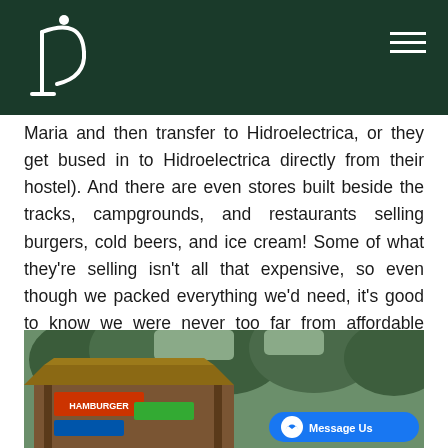Maria and then transfer to Hidroelectrica, or they get bused in to Hidroelectrica directly from their hostel). And there are even stores built beside the tracks, campgrounds, and restaurants selling burgers, cold beers, and ice cream! Some of what they're selling isn't all that expensive, so even though we packed everything we'd need, it's good to know we were never too far from affordable provisions.
[Figure (photo): Outdoor jungle restaurant/store beside train tracks with a 'HAMBURGER' sign, surrounded by tropical trees and vegetation. A 'Message Us' chat button overlay is visible in the lower right corner.]